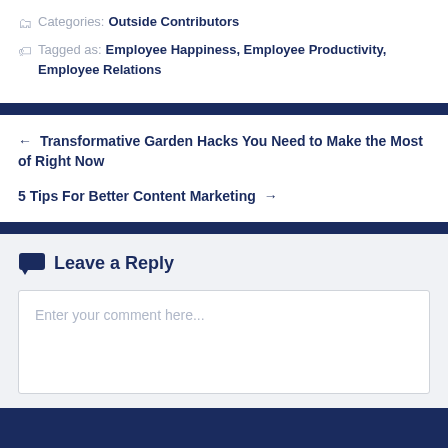Categories: Outside Contributors
Tagged as: Employee Happiness, Employee Productivity, Employee Relations
← Transformative Garden Hacks You Need to Make the Most of Right Now
5 Tips For Better Content Marketing →
Leave a Reply
Enter your comment here...